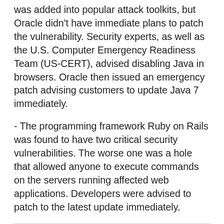The exploit for a Java-based zero-day vulnerability was added into popular attack toolkits, but Oracle didn't have immediate plans to patch the vulnerability. Security experts, as well as the U.S. Computer Emergency Readiness Team (US-CERT), advised disabling Java in browsers. Oracle then issued an emergency patch advising customers to update Java 7 immediately.
- The programming framework Ruby on Rails was found to have two critical security vulnerabilities. The worse one was a hole that allowed anyone to execute commands on the servers running affected web applications. Developers were advised to patch to the latest update immediately.